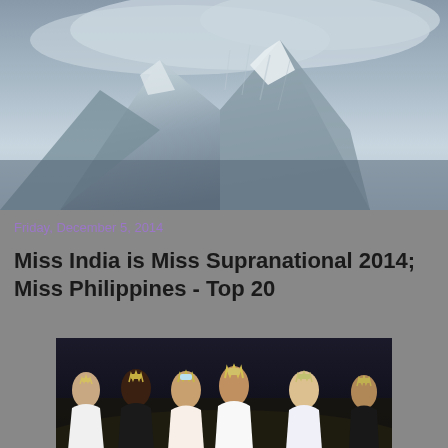[Figure (photo): Mountain landscape with snow and clouds — blog header banner background]
The Intersections & Beyond
Arts & Entertainment, Sports & Fitness, Business & Technology, Fashion & Pageant, Food & Leisure, Literature & Books.
Friday, December 5, 2014
Miss India is Miss Supranational 2014; Miss Philippines - Top 20
[Figure (photo): Group photo of pageant winners wearing crowns and gowns]